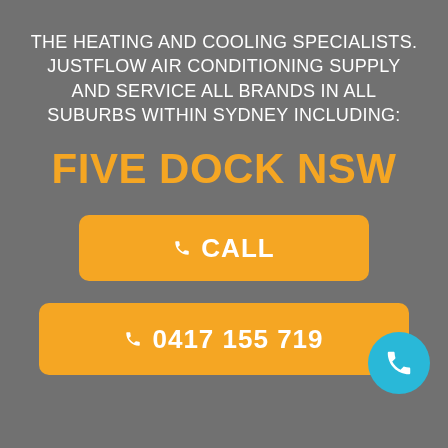THE HEATING AND COOLING SPECIALISTS. JUSTFLOW AIR CONDITIONING SUPPLY AND SERVICE ALL BRANDS IN ALL SUBURBS WITHIN SYDNEY INCLUDING:
FIVE DOCK NSW
[Figure (other): Orange rounded rectangle button with phone icon and text CALL]
[Figure (other): Orange rounded rectangle button with phone icon and phone number 0417 155 719]
[Figure (other): Blue circular phone icon badge in bottom right corner]